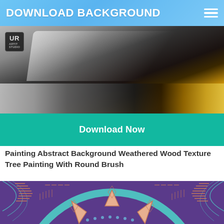DOWNLOAD BACKGROUND
[Figure (photo): Close-up photograph of a large paint brush with silver metallic body and yellow/gold wooden handle, covered in gray and dark paint strokes on a dark background. A small logo badge reading 'UR' is visible in the top-left corner.]
Download Now
Painting Abstract Background Weathered Wood Texture Tree Painting With Round Brush
[Figure (illustration): Colorful mandala-style Aboriginal or folk art illustration on a deep purple background. Features a large circular mandala with teal/mint green concentric rings, coral/salmon colored sun-ray triangles and fan shapes, small decorative dots, and intricate line patterns in muted terracotta and teal colors radiating outward.]